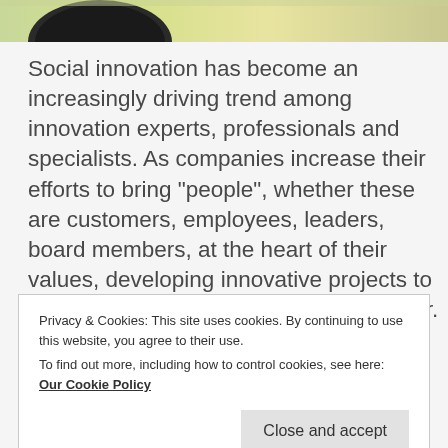[Figure (photo): Partial top image showing a person's head and a colorful abstract background]
Social innovation has become an increasingly driving trend among innovation experts, professionals and specialists. As companies increase their efforts to bring “people”, whether these are customers, employees, leaders, board members, at the heart of their values, developing innovative projects to lead to a better society is drawing nearer. Social innovation trends as
Privacy & Cookies: This site uses cookies. By continuing to use this website, you agree to their use.
To find out more, including how to control cookies, see here: Our Cookie Policy
Close and accept
is drawing nearer.